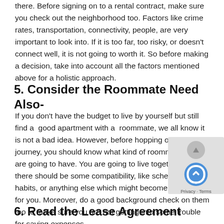there. Before signing on to a rental contract, make sure you check out the neighborhood too. Factors like crime rates, transportation, connectivity, people, are very important to look into. If it is too far, too risky, or doesn't connect well, it is not going to worth it. So before making a decision, take into account all the factors mentioned above for a holistic approach.
5. Consider the Roommate Need Also-
If you don't have the budget to live by yourself but still find a  good apartment with a  roommate, we all know it is not a bad idea. However, before hopping on to the journey, you should know what kind of roommate you are going to have. You are going to live together, so there should be some compatibility, like schedules, habits, or anything else which might become a problem for you. Moreover, do a good background check on them too to make sure you are not getting into some trouble for saving expenses.
6. Read the Lease Agreement